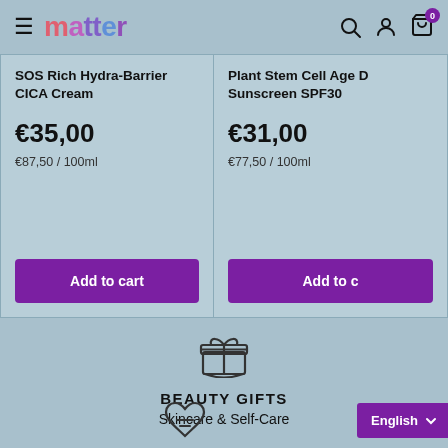matter — logo and navigation header with hamburger menu, search, account, and cart icons
SOS Rich Hydra-Barrier CICA Cream
€35,00
€87,50 / 100ml
Add to cart
Plant Stem Cell Age D... Sunscreen SPF30
€31,00
€77,50 / 100ml
Add to c...
[Figure (illustration): Gift box icon with ribbon]
BEAUTY GIFTS
Skincare & Self-Care
[Figure (illustration): Heart with lines icon at bottom]
English